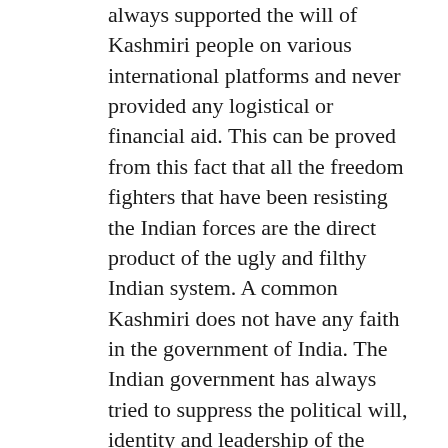always supported the will of Kashmiri people on various international platforms and never provided any logistical or financial aid. This can be proved from this fact that all the freedom fighters that have been resisting the Indian forces are the direct product of the ugly and filthy Indian system. A common Kashmiri does not have any faith in the government of India. The Indian government has always tried to suppress the political will, identity and leadership of the Kashmiri people. Historically, toppling the democratically elected governments in the valley and forming the puppet governments against the wills of the local people, only compelled the common people to fight for their rights.
The Indian government, during the struggle to control and destroy the identity of the Kashmir,